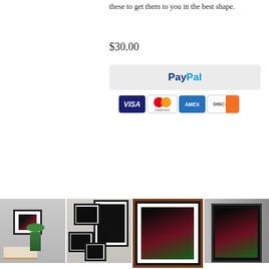these to get them to you in the best shape.
$30.00
[Figure (logo): PayPal payment button with PayPal logo in blue text on light grey background]
[Figure (logo): Payment method icons: VISA, Mastercard, AMEX, DISCOVER]
[Figure (photo): Four product thumbnail images showing framed botanical art prints in various frame styles and wall displays]